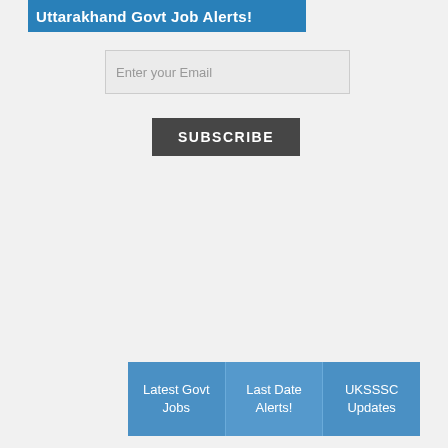Uttarakhand Govt Job Alerts!
Enter your Email
SUBSCRIBE
Latest Govt Jobs | Last Date Alerts! | UKSSSC Updates